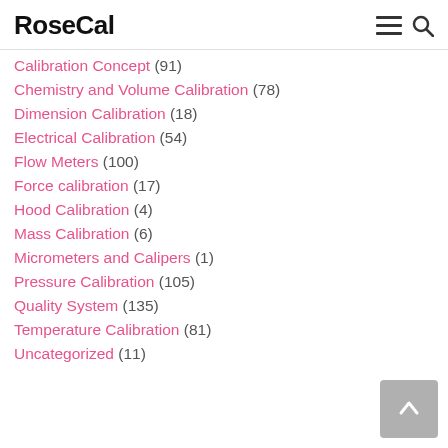RoseCal
Calibration Concept (91)
Chemistry and Volume Calibration (78)
Dimension Calibration (18)
Electrical Calibration (54)
Flow Meters (100)
Force calibration (17)
Hood Calibration (4)
Mass Calibration (6)
Micrometers and Calipers (1)
Pressure Calibration (105)
Quality System (135)
Temperature Calibration (81)
Uncategorized (11)